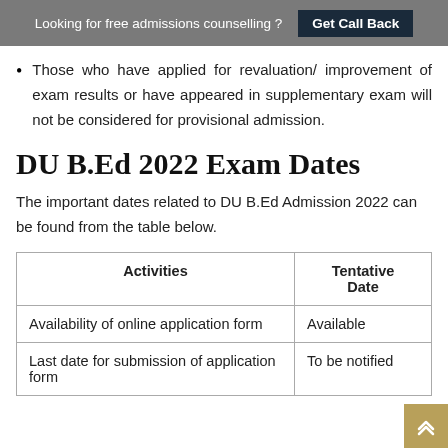Looking for free admissions counselling ? Get Call Back
Those who have applied for revaluation/ improvement of exam results or have appeared in supplementary exam will not be considered for provisional admission.
DU B.Ed 2022 Exam Dates
The important dates related to DU B.Ed Admission 2022 can be found from the table below.
| Activities | Tentative Date |
| --- | --- |
| Availability of online application form | Available |
| Last date for submission of application form | To be notified |